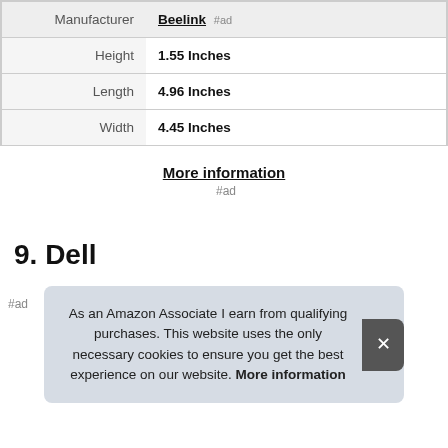|  |  |
| --- | --- |
| Manufacturer | Beelink #ad |
| Height | 1.55 Inches |
| Length | 4.96 Inches |
| Width | 4.45 Inches |
More information #ad
9. Dell
As an Amazon Associate I earn from qualifying purchases. This website uses the only necessary cookies to ensure you get the best experience on our website. More information